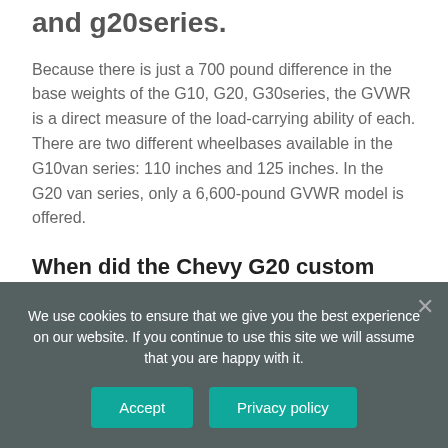and g20series.
Because there is just a 700 pound difference in the base weights of the G10, G20, G30series, the GVWR is a direct measure of the load-carrying ability of each. There are two different wheelbases available in the G10van series: 110 inches and 125 inches. In the G20 van series, only a 6,600-pound GVWR model is offered.
When did the Chevy G20 custom van come out?
We use cookies to ensure that we give you the best experience on our website. If you continue to use this site we will assume that you are happy with it.